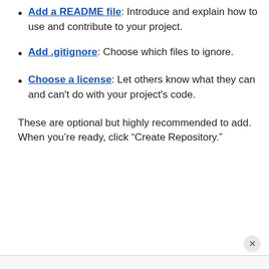Add a README file: Introduce and explain how to use and contribute to your project.
Add .gitignore: Choose which files to ignore.
Choose a license: Let others know what they can and can't do with your project's code.
These are optional but highly recommended to add. When you're ready, click “Create Repository.”